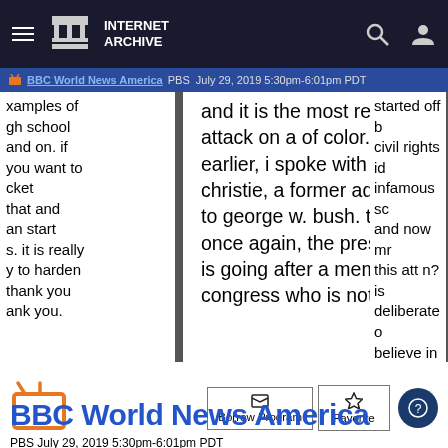Internet Archive
BBC World News America  PBS  July 29, 2019 5:30pm-6:01pm PDT
xamples of gh school and on. if you want to cket that and an start s. it is really y to harden thank you ank you.
and it is the most recent attack on a of color.man earlier, i spoke with ron christie, a former advisor to george w. bush. than once again, the president is going after a member of congress who is not
started off b civil rights id infamous sc and now mr this att n? is deliberate o believe in p coincidenta expand his particularly ron: i think t
[Figure (illustration): Orange TV/monitor icon]
Borrow Program
Favorite
BBC World News America
PBS July 29, 2019 5:30pm-6:01pm PDT